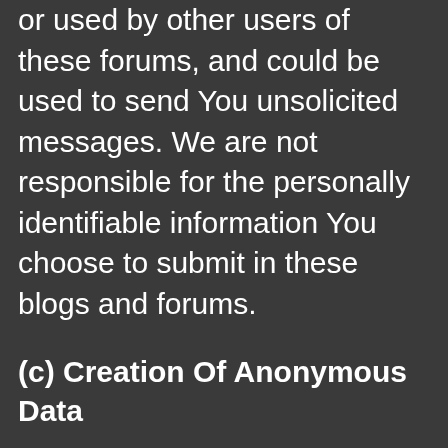or used by other users of these forums, and could be used to send You unsolicited messages. We are not responsible for the personally identifiable information You choose to submit in these blogs and forums.
(c) Creation Of Anonymous Data
We may create Anonymous Data records from Personal Data by excluding information (such as Your name) that makes the data personally identifiable to You. We use this Anonymous Data to analyze request and usage patterns so that We may enhance the content of